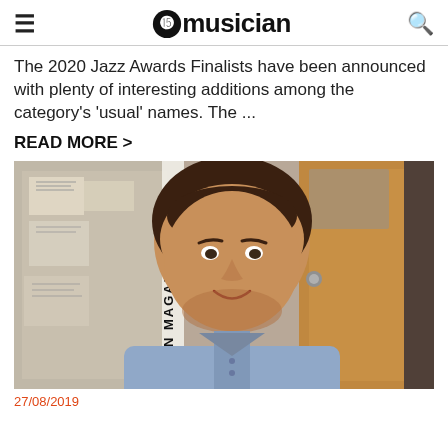≡  ⓯musician  🔍
The 2020 Jazz Awards Finalists have been announced with plenty of interesting additions among the category's 'usual' names. The ...
READ MORE >
[Figure (photo): A man with dark curly hair, smiling, wearing a light blue shirt, seated in an office environment with papers on a wall behind him and a wooden door to the right. The text 'ICIAN MAGAZINE' is visible vertically on a banner in the background.]
27/08/2019